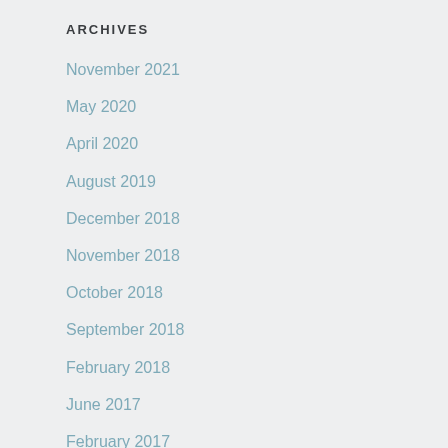ARCHIVES
November 2021
May 2020
April 2020
August 2019
December 2018
November 2018
October 2018
September 2018
February 2018
June 2017
February 2017
January 2017
December 2016